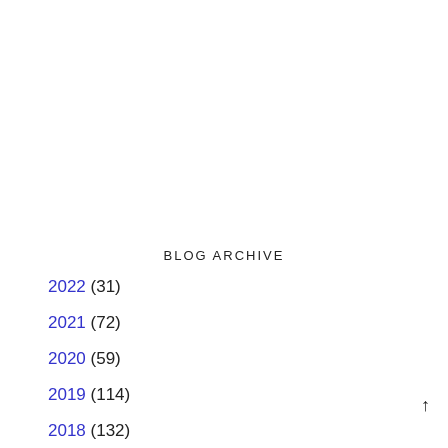BLOG ARCHIVE
2022 (31)
2021 (72)
2020 (59)
2019 (114)
2018 (132)
2017 (189)